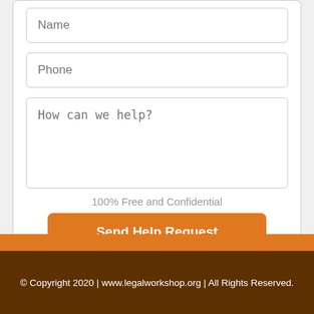Name
Phone
How can we help?
100% Free and Confidential
Send Help Request
© Copyright 2020 | www.legalworkshop.org | All Rights Reserved.